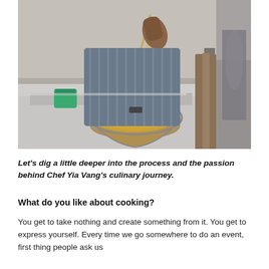[Figure (photo): A chef stirring food in a wok or metal bowl at an outdoor cooking station. The chef is wearing a striped apron. A green container is visible in the background. The cooking setup includes a metal counter surface.]
Let's dig a little deeper into the process and the passion behind Chef Yia Vang's culinary journey.
What do you like about cooking?
You get to take nothing and create something from it. You get to express yourself. Every time we go somewhere to do an event, first thing people ask us